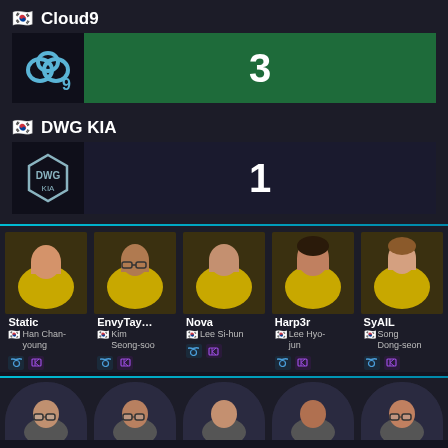Cloud9
3
DWG KIA
1
Static
Han Chan-young
EnvyTay...
Kim Seong-soo
Nova
Lee Si-hun
Harp3r
Lee Hyo-jun
SyAlL
Song Dong-seon